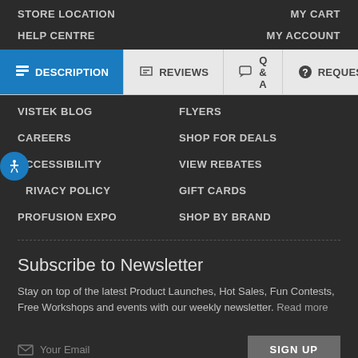STORE LOCATION
MY CART
HELP CENTRE
MY ACCOUNT
[Figure (screenshot): Tab navigation bar with DESCRIPTION (active, blue), REVIEWS, Q & A, REQUES tabs]
VISTEK BLOG
FLYERS
CAREERS
SHOP FOR DEALS
ACCESSIBILITY
VIEW REBATES
PRIVACY POLICY
GIFT CARDS
PROFUSION EXPO
SHOP BY BRAND
Subscribe to Newsletter
Stay on top of the latest Product Launches, Hot Sales, Fun Contests, Free Workshops and events with our weekly newsletter. Read more